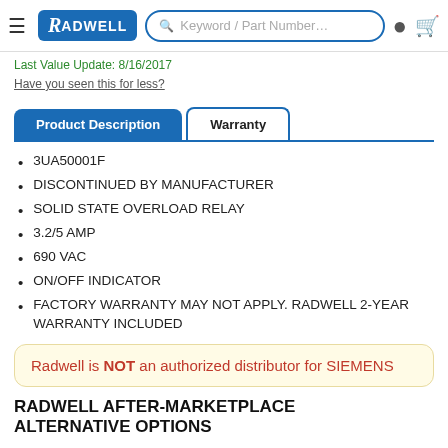Radwell — Keyword / Part Number search bar, user icon, cart icon
Last Value Update: 8/16/2017
Have you seen this for less?
Product Description | Warranty (tabs)
3UA50001F
DISCONTINUED BY MANUFACTURER
SOLID STATE OVERLOAD RELAY
3.2/5 AMP
690 VAC
ON/OFF INDICATOR
FACTORY WARRANTY MAY NOT APPLY. RADWELL 2-YEAR WARRANTY INCLUDED
Radwell is NOT an authorized distributor for SIEMENS
RADWELL AFTER-MARKETPLACE ALTERNATIVE OPTIONS